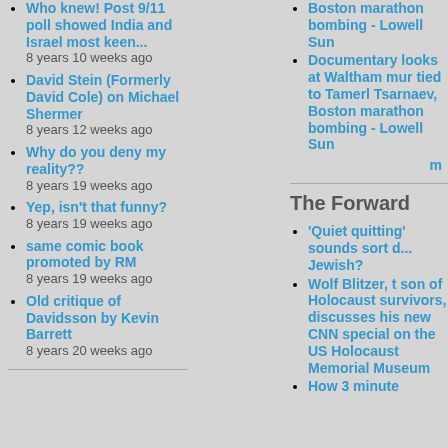Who knew! Post 9/11 poll showed India and Israel most keen...
8 years 10 weeks ago
David Stein (Formerly David Cole) on Michael Shermer
8 years 12 weeks ago
Why do you deny my reality??
8 years 19 weeks ago
Yep, isn't that funny?
8 years 19 weeks ago
same comic book promoted by RM
8 years 19 weeks ago
Old critique of Davidsson by Kevin Barrett
8 years 20 weeks ago
Boston marathon bombing - Lowell Sun
Documentary looks at Waltham mur tied to Tamerlan Tsarnaev, Boston marathon bombing - Lowell Sun
m
The Forward
'Quiet quitting' sounds sort d... Jewish?
Wolf Blitzer, t son of Holocaust survivors, discusses his new CNN special on the US Holocaust Memorial Museum
How 3 minute